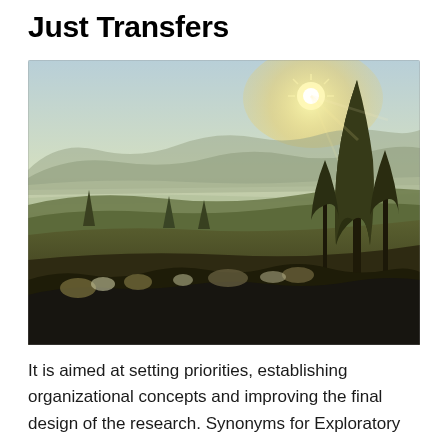Just Transfers
[Figure (photo): Landscape photograph of a hilly countryside at sunset or sunrise, with rolling hills, scattered cypress trees and shrubs in the foreground, misty mountain layers in the background, and bright sunlight shining through a tree on the right side.]
It is aimed at setting priorities, establishing organizational concepts and improving the final design of the research. Synonyms for Exploratory